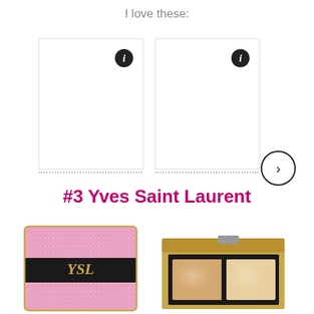I love these:
[Figure (screenshot): Two product card placeholders with info icons and a next arrow button]
#3 Yves Saint Laurent
[Figure (photo): YSL pink glitter compact and gold eyeshadow palette products]